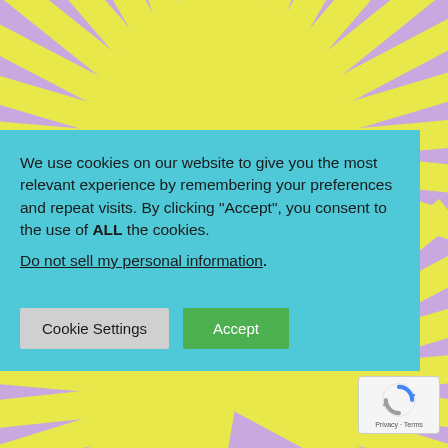[Figure (illustration): Sunburst/starburst pattern with alternating yellow and purple rays radiating from a central point, covering the full page background. The pattern appears twice — one centered in the upper half and another in the lower half.]
We use cookies on our website to give you the most relevant experience by remembering your preferences and repeat visits. By clicking “Accept”, you consent to the use of ALL the cookies.
Do not sell my personal information.
Cookie Settings
Accept
[Figure (logo): reCAPTCHA badge with spinning arrow icon and text 'Privacy - Terms']